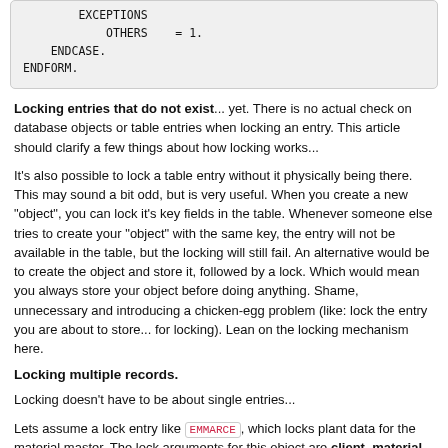[Figure (screenshot): Code block showing ABAP snippet with EXCEPTIONS OTHERS = 1. ENDCASE. ENDFORM.]
Locking entries that do not exist... yet. There is no actual check on database objects or table entries when locking an entry. This article should clarify a few things about how locking works...
It's also possible to lock a table entry without it physically being there. This may sound a bit odd, but is very useful. When you create a new "object", you can lock it's key fields in the table. Whenever someone else tries to create your "object" with the same key, the entry will not be available in the table, but the locking will still fail. An alternative would be to create the object and store it, followed by a lock. Which would mean you always store your object before doing anything. Shame, unnecessary and introducing a chicken-egg problem (like: lock the entry you are about to store... for locking). Lean on the locking mechanism here.
Locking multiple records.
Locking doesn't have to be about single entries...
Lets assume a lock entry like EMMARCE, which locks plant data for the material master. The lock arguments for this object are client, material number and plant. If you want to lock all plants for a certain material number, just leave the plant argument blank. The system will assume that